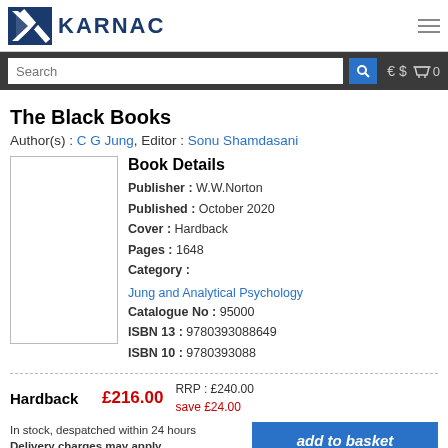KARNAC
The Black Books
Author(s) : C G Jung, Editor : Sonu Shamdasani
Book Details
Publisher : W.W.Norton
Published : October 2020
Cover : Hardback
Pages : 1648
Category : Jung and Analytical Psychology
Catalogue No : 95000
ISBN 13 : 9780393088649
ISBN 10 : 9780393088
Hardback  £216.00  RRP : £240.00  save £24.00
In stock, despatched within 24 hours
Delivery charges may apply
add to basket